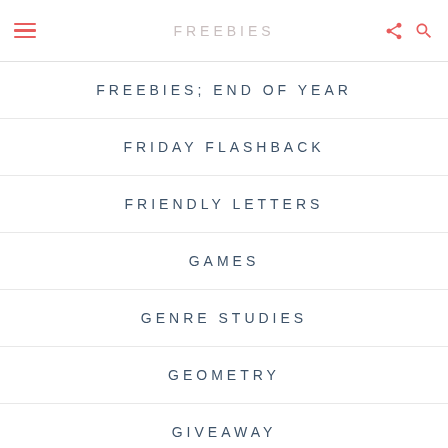FREEBIES
FREEBIES; END OF YEAR
FRIDAY FLASHBACK
FRIENDLY LETTERS
GAMES
GENRE STUDIES
GEOMETRY
GIVEAWAY
GUEST BLOGGER
HALLOWEEN